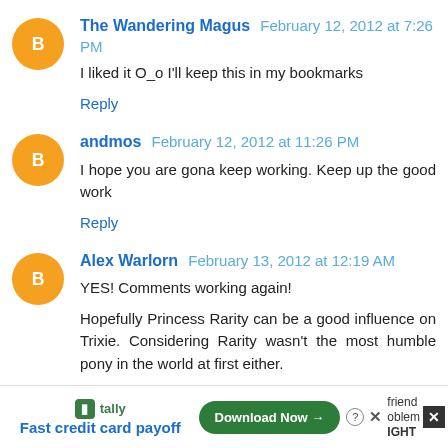The Wandering Magus  February 12, 2012 at 7:26 PM
I liked it O_o I'll keep this in my bookmarks
Reply
andmos  February 12, 2012 at 11:26 PM
I hope you are gona keep working. Keep up the good work
Reply
Alex Warlorn  February 13, 2012 at 12:19 AM
YES! Comments working again!

Hopefully Princess Rarity can be a good influence on Trixie. Considering Rarity wasn't the most humble pony in the world at first either.

I can appreciate AJ's point of view (consider Trixie
[Figure (screenshot): Advertisement bar at bottom: Tally app ad with 'Fast credit card payoff' text and 'Download Now' button, alongside partial text 'friend', 'oblem', 'IGHT']